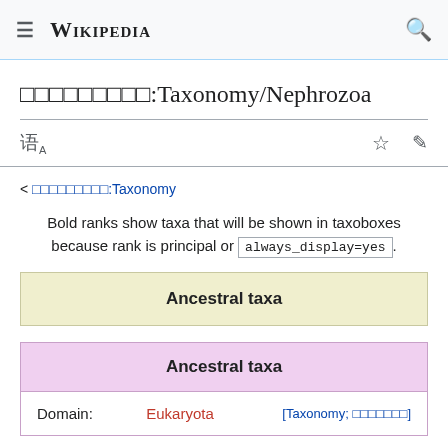Wikipedia
□□□□□□□□□:Taxonomy/Nephrozoa
Bold ranks show taxa that will be shown in taxoboxes because rank is principal or always_display=yes.
Ancestral taxa
| Ancestral taxa |  |  |
| --- | --- | --- |
| Domain: | Eukaryota | [Taxonomy; □□□□□□□] |